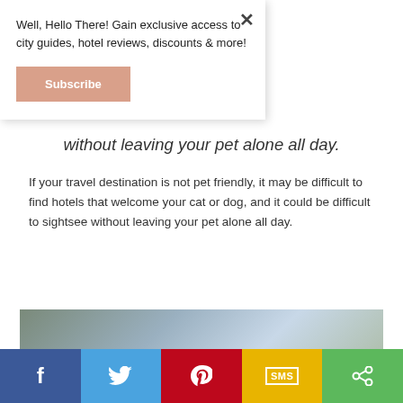Well, Hello There! Gain exclusive access to city guides, hotel reviews, discounts & more!
Subscribe
without leaving your pet alone all day.
If your travel destination is not pet friendly, it may be difficult to find hotels that welcome your cat or dog, and it could be difficult to sightsee without leaving your pet alone all day.
[Figure (photo): Partial image at bottom of content area, showing what appears to be a travel/outdoor scene]
[Figure (infographic): Social share bar with Facebook, Twitter, Pinterest, SMS, and share buttons]